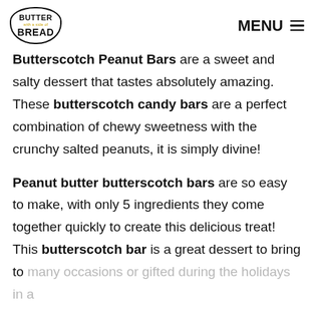BUTTER with a side of BREAD | MENU
Butterscotch Peanut Bars are a sweet and salty dessert that tastes absolutely amazing. These butterscotch candy bars are a perfect combination of chewy sweetness with the crunchy salted peanuts, it is simply divine!
Peanut butter butterscotch bars are so easy to make, with only 5 ingredients they come together quickly to create this delicious treat! This butterscotch bar is a great dessert to bring to many occasions or gifted during the holidays in a cookie package...